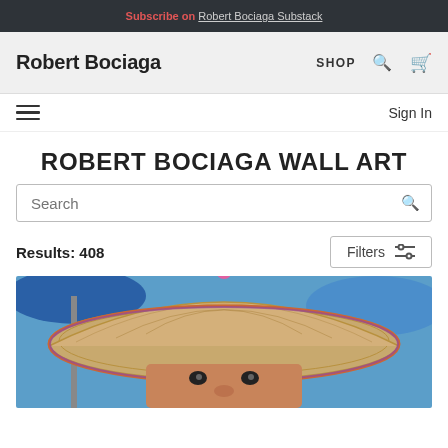Subscribe on Robert Bociaga Substack
Robert Bociaga
SHOP
ROBERT BOCIAGA WALL ART
Search
Results: 408
Filters
[Figure (photo): Person wearing a large woven straw conical hat with a pink tassel, photographed outdoors near colorful market umbrellas]